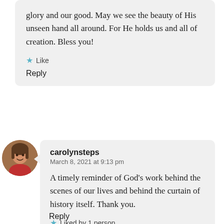glory and our good. May we see the beauty of His unseen hand all around. For He holds us and all of creation. Bless you!
Like
Reply
[Figure (photo): Circular avatar photo of a woman]
carolynsteps
March 8, 2021 at 9:13 pm
A timely reminder of God’s work behind the scenes of our lives and behind the curtain of history itself. Thank you.
Liked by 1 person
Reply